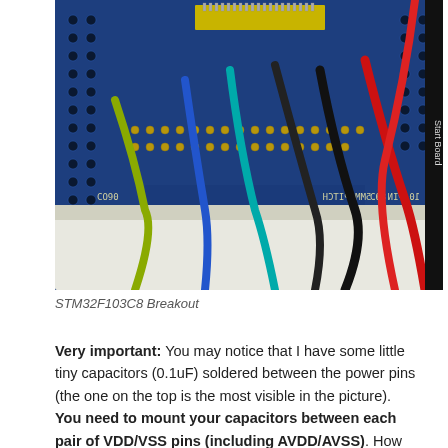[Figure (photo): Close-up photograph of an STM32F103C8 breakout board showing wires (red, blue, green, yellow, black) connected to through-hole pads, with a QFP microcontroller chip visible on the blue PCB.]
STM32F103C8 Breakout
Very important: You may notice that I have some little tiny capacitors (0.1uF) soldered between the power pins (the one on the top is the most visible in the picture). You need to mount your capacitors between each pair of VDD/VSS pins (including AVDD/AVSS). How you do this is completely up to you, but it must be done and they should be rather